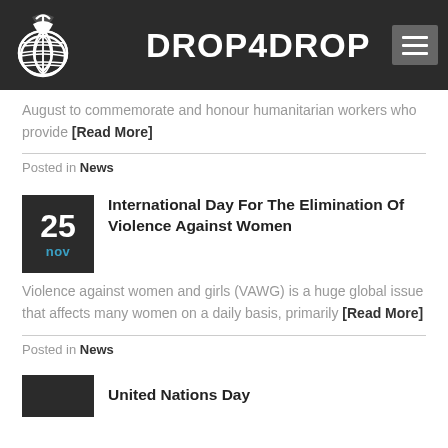DROP4DROP
August to commemorate and honour humanitarian workers who provide [Read More]
Posted in News
25 nov
International Day For The Elimination Of Violence Against Women
Violence against women and girls (VAWG) is a huge global issue that affects many women on a daily basis, primarily [Read More]
Posted in News
United Nations Day